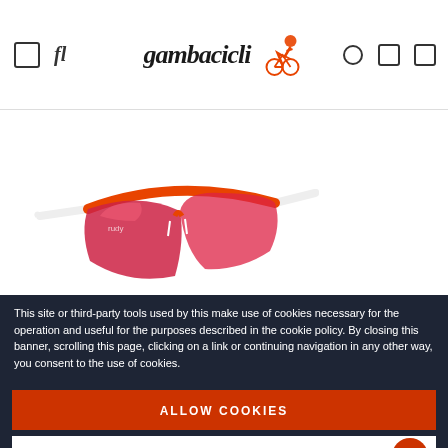gambacicli - logo with cyclist icon, navigation icons
[Figure (photo): Orange and white sports cycling sunglasses (Rudy Project) with red/pink tinted lens, shown at an angle on white background]
This site or third-party tools used by this make use of cookies necessary for the operation and useful for the purposes described in the cookie policy. By closing this banner, scrolling this page, clicking on a link or continuing navigation in any other way, you consent to the use of cookies.
ALLOW COOKIES
SETTINGS